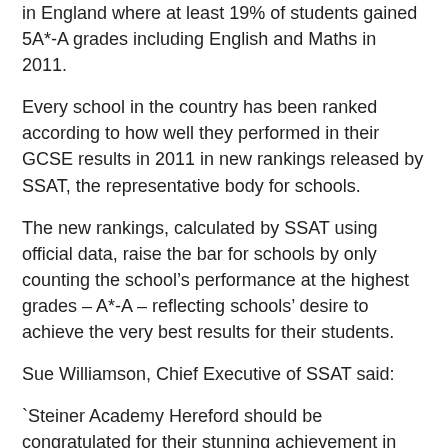in England where at least 19% of students gained 5A*-A grades including English and Maths in 2011.
Every school in the country has been ranked according to how well they performed in their GCSE results in 2011 in new rankings released by SSAT, the representative body for schools.
The new rankings, calculated by SSAT using official data, raise the bar for schools by only counting the school's performance at the highest grades – A*-A – reflecting schools' desire to achieve the very best results for their students.
Sue Williamson, Chief Executive of SSAT said:
`Steiner Academy Hereford should be congratulated for their stunning achievement in securing some of the best GCSE results in the country. Steiner Academy Hereford has proved itself to be one of the best schools in the country at securing superb GCSE outcomes for their students. There is plenty that other schools could learn from Steiner Academy Hereford's success.